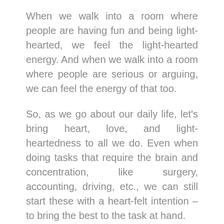When we walk into a room where people are having fun and being light-hearted, we feel the light-hearted energy. And when we walk into a room where people are serious or arguing, we can feel the energy of that too.
So, as we go about our daily life, let's bring heart, love, and light-heartedness to all we do. Even when doing tasks that require the brain and concentration, like surgery, accounting, driving, etc., we can still start these with a heart-felt intention – to bring the best to the task at hand.
The Value in Bringing Loving Feelings to All We Do